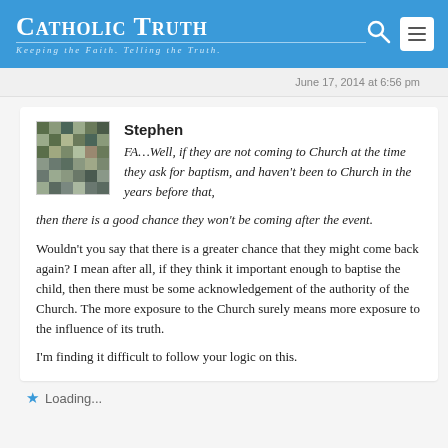Catholic Truth – Keeping the Faith. Telling the Truth.
June 17, 2014 at 6:56 pm
Stephen
FA…Well, if they are not coming to Church at the time they ask for baptism, and haven't been to Church in the years before that, then there is a good chance they won't be coming after the event.

Wouldn't you say that there is a greater chance that they might come back again? I mean after all, if they think it important enough to baptise the child, then there must be some acknowledgement of the authority of the Church. The more exposure to the Church surely means more exposure to the influence of its truth.

I'm finding it difficult to follow your logic on this.
Loading...